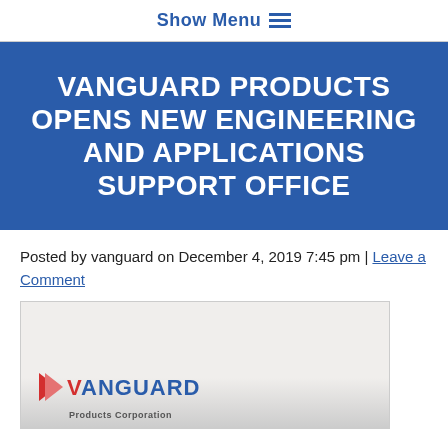Show Menu ≡
VANGUARD PRODUCTS OPENS NEW ENGINEERING AND APPLICATIONS SUPPORT OFFICE
Posted by vanguard on December 4, 2019 7:45 pm | Leave a Comment
[Figure (photo): Photo showing a person standing in front of a Vanguard Products logo/sign]